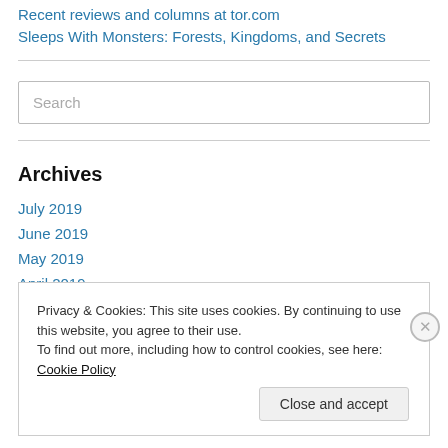Recent reviews and columns at tor.com
Sleeps With Monsters: Forests, Kingdoms, and Secrets
[Figure (other): Search input box with placeholder text 'Search']
Archives
July 2019
June 2019
May 2019
April 2019
Privacy & Cookies: This site uses cookies. By continuing to use this website, you agree to their use.
To find out more, including how to control cookies, see here: Cookie Policy